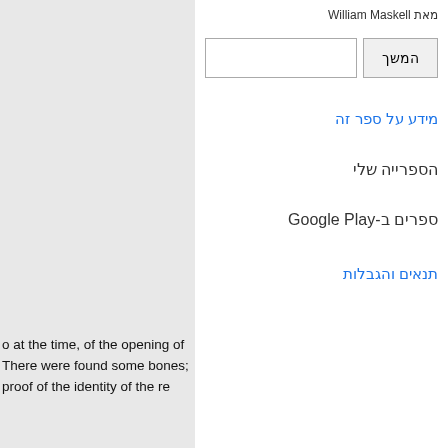מאת William Maskell
המשך
מידע על ספר זה
הספרייה שלי
ספרים ב-Google Play
תנאים   והגבלות
o at the time, of the opening of There were found some bones; proof of the identity of the re
relate to the ordination of ave here a subject of enquiry t I almost fear to enter upon it at hall propose therefore to do little , and canonists, much in the ating the rubrics and ceremonies